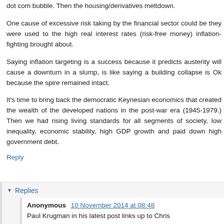dot com bubble. Then the housing/derivatives meltdown.
One cause of excessive risk taking by the financial sector could be they were used to the high real interest rates (risk-free money) inflation-fighting brought about.
Saying inflation targeting is a success because it predicts austerity will cause a downturn in a slump, is like saying a building collapse is Ok because the spire remained intact.
It's time to bring back the democratic Keynesian economics that created the wealth of the developed nations in the post-war era (1945-1979.) Then we had rising living standards for all segments of society, low inequality, economic stability, high GDP growth and paid down high government debt.
Reply
Replies
Anonymous 10 November 2014 at 08:48
Paul Krugman in his latest post links up to Chris